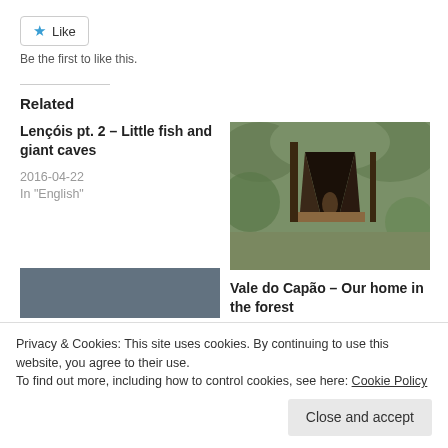[Figure (other): Like button with star icon and text 'Like']
Be the first to like this.
Related
Lençóis pt. 2 – Little fish and giant caves
2016-04-22
In "English"
[Figure (photo): Photo of an A-frame cabin/hut in a forested area]
Vale do Capão – Our home in the forest
2016-04-24
In "English"
Privacy & Cookies: This site uses cookies. By continuing to use this website, you agree to their use.
To find out more, including how to control cookies, see here: Cookie Policy
Close and accept
[Figure (photo): Partial photo visible at bottom left]